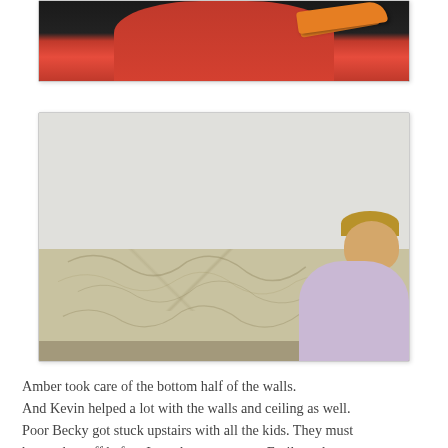[Figure (photo): Partial photo at top of page showing a person in a pink/red shirt holding an orange paint tray, dark background]
[Figure (photo): Photo of a person (Amber) crouched down working on the bottom half of a wall, scraping or removing wallpaper. The wall shows the lower portion with yellowed/beige paper being removed, and the upper portion is white. The person has blonde hair and wears a light purple shirt.]
Amber took care of the bottom half of the walls.
And Kevin helped a lot with the walls and ceiling as well.
Poor Becky got stuck upstairs with all the kids. They must
have taken off before I got the camera out. Emily and